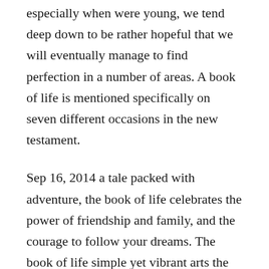especially when were young, we tend deep down to be rather hopeful that we will eventually manage to find perfection in a number of areas. A book of life is mentioned specifically on seven different occasions in the new testament.
Sep 16, 2014 a tale packed with adventure, the book of life celebrates the power of friendship and family, and the courage to follow your dreams. The book of life simple yet vibrant arts the harvard. Channing tatum and zoe saldana lend their voices to the